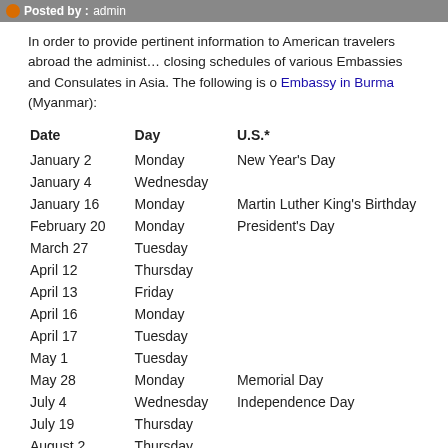Posted by: admin
In order to provide pertinent information to American travelers abroad the administration publishes the holiday closing schedules of various Embassies and Consulates in Asia. The following is our Embassy in Burma (Myanmar):
| Date | Day | U.S.* |
| --- | --- | --- |
| January 2 | Monday | New Year's Day |
| January 4 | Wednesday |  |
| January 16 | Monday | Martin Luther King's Birthday |
| February 20 | Monday | President's Day |
| March 27 | Tuesday |  |
| April 12 | Thursday |  |
| April 13 | Friday |  |
| April 16 | Monday |  |
| April 17 | Tuesday |  |
| May 1 | Tuesday |  |
| May 28 | Monday | Memorial Day |
| July 4 | Wednesday | Independence Day |
| July 19 | Thursday |  |
| August 2 | Thursday |  |